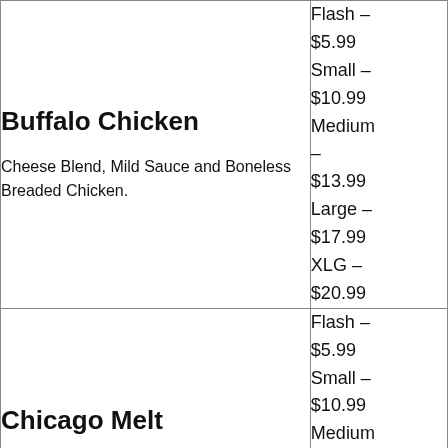| Item | Sizes & Prices |
| --- | --- |
| Buffalo Chicken
Cheese Blend, Mild Sauce and Boneless Breaded Chicken. | Flash – $5.99
Small – $10.99
Medium – $13.99
Large – $17.99
XLG – $20.99 |
| Chicago Melt | Flash – $5.99
Small – $10.99
Medium – |